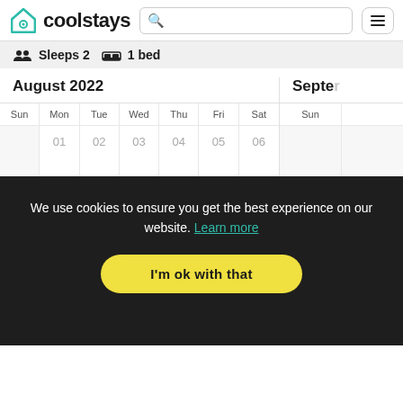coolstays
Sleeps 2  1 bed
August 2022
| Sun | Mon | Tue | Wed | Thu | Fri | Sat |
| --- | --- | --- | --- | --- | --- | --- |
|  | 01 | 02 | 03 | 04 | 05 | 06 |
Septe...
We use cookies to ensure you get the best experience on our website. Learn more
I'm ok with that